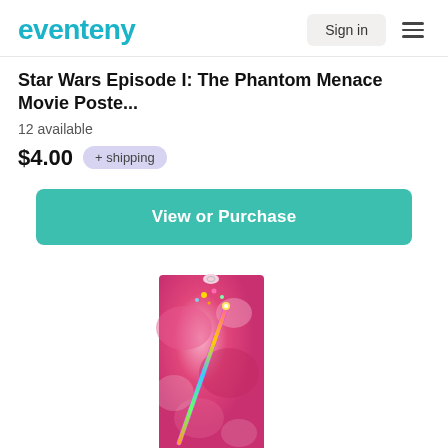eventeny | Sign in
Star Wars Episode I: The Phantom Menace Movie Poste...
12 available
$4.00  + shipping
View or Purchase
[Figure (photo): A colorful wand/scepter toy item in pink tie-dye blister packaging, displayed vertically. The wand appears to have a decorative sparkly top and a multicolored stick.]